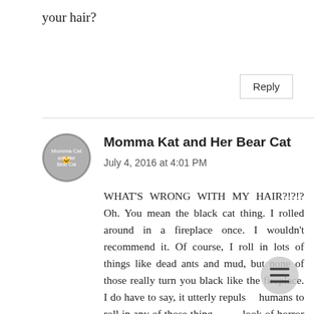your hair?
Reply
Momma Kat and Her Bear Cat
July 4, 2016 at 4:01 PM
WHAT'S WRONG WITH MY HAIR?!?!? Oh. You mean the black cat thing. I rolled around in a fireplace once. I wouldn't recommend it. Of course, I roll in lots of things like dead ants and mud, but none of those really turn you black like the fireplace. I do have to say, it utterly repulses humans to roll in any of those things. The look of horror on Momma's face (as she screams, "BEAR! You're NOT a dog!") is MORE than worth it. And I get a second one